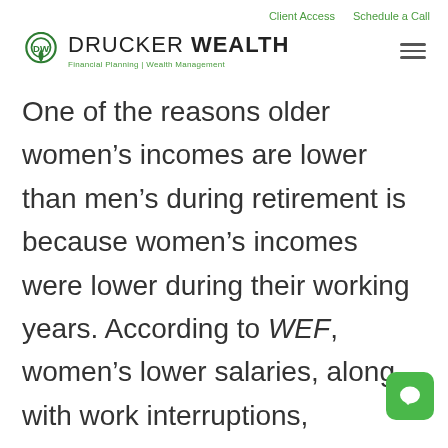Client Access   Schedule a Call
[Figure (logo): Drucker Wealth logo with pin icon and text: DRUCKER WEALTH | Financial Planning | Wealth Management]
One of the reasons older women’s incomes are lower than men’s during retirement is because women’s incomes were lower during their working years. According to WEF, women’s lower salaries, along with work interruptions, negatively affe